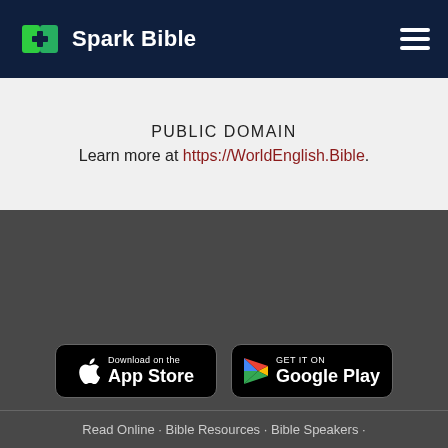Spark Bible
PUBLIC DOMAIN
Learn more at https://WorldEnglish.Bible.
[Figure (logo): Download on the App Store button]
[Figure (logo): GET IT ON Google Play button]
Read Online · Bible Resources · Bible Speakers ·